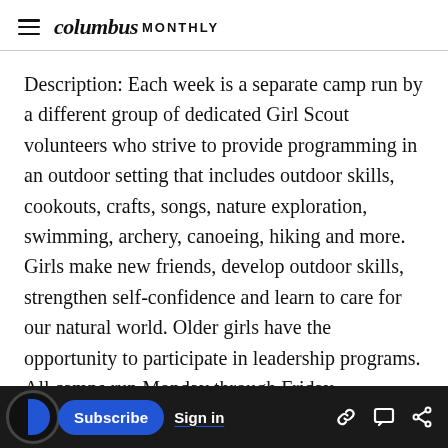columbus MONTHLY
Description: Each week is a separate camp run by a different group of dedicated Girl Scout volunteers who strive to provide programming in an outdoor setting that includes outdoor skills, cookouts, crafts, songs, nature exploration, swimming, archery, canoeing, hiking and more. Girls make new friends, develop outdoor skills, strengthen self-confidence and learn to care for our natural world. Older girls have the opportunity to participate in leadership programs. All camps run Monday through Friday.
Subscribe | Sign in